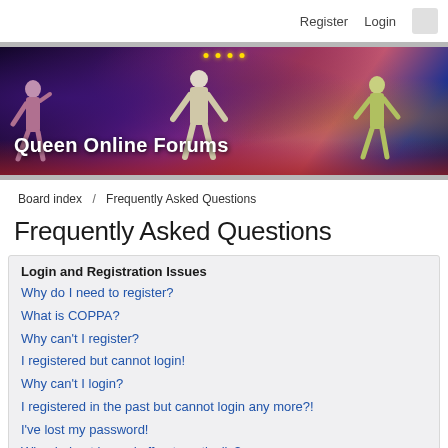Register   Login
[Figure (photo): Banner image of Queen performing on stage with blue and red stage lighting, silhouettes of band members. Text overlay reads 'Queen Online Forums']
Board index  /  Frequently Asked Questions
Frequently Asked Questions
Login and Registration Issues
Why do I need to register?
What is COPPA?
Why can't I register?
I registered but cannot login!
Why can't I login?
I registered in the past but cannot login any more?!
I've lost my password!
Why do I get logged off automatically?